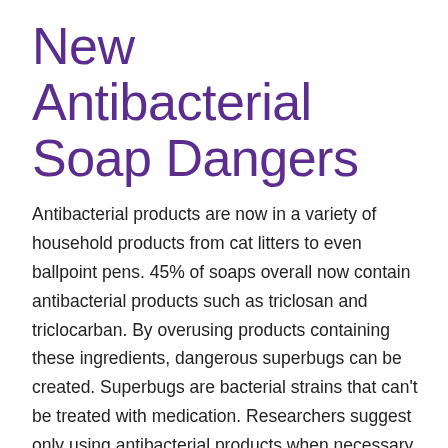New Antibacterial Soap Dangers
Antibacterial products are now in a variety of household products from cat litters to even ballpoint pens. 45% of soaps overall now contain antibacterial products such as triclosan and triclocarban. By overusing products containing these ingredients, dangerous superbugs can be created. Superbugs are bacterial strains that can't be treated with medication. Researchers suggest only using antibacterial products when necessary such as when caring for the sick. Click here to read the full article about using antibacterial products.